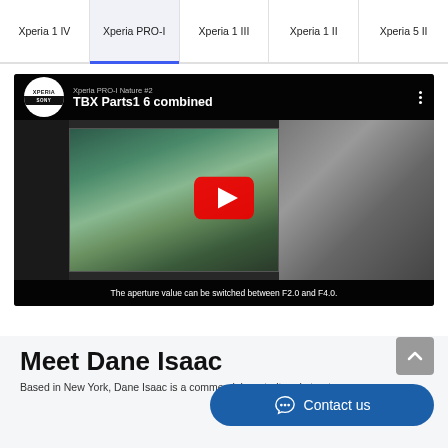Xperia 1 IV | Xperia PRO-I | Xperia 1 III | Xperia 1 II | Xperia 5 II
[Figure (screenshot): YouTube video embed showing 'Xperia PRO-I Nature #2 - TBX Parts1 6 combined' with a presenter pointing at a large screen displaying a waterfall nature photo. Subtitle reads: The aperture value can be switched between F2.0 and F4.0.]
Meet Dane Isaac
Based in New York, Dane Isaac is a commercial, portrait and street